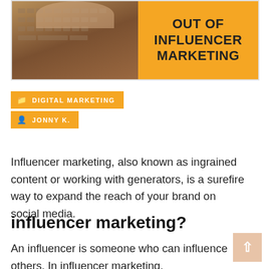[Figure (photo): Hero image with laptop/keyboard photo on the left and orange background with bold text 'OUT OF INFLUENCER MARKETING' on the right]
DIGITAL MARKETING
JONNY K.
Influencer marketing, also known as ingrained content or working with generators, is a surefire way to expand the reach of your brand on social media.
influencer marketing?
An influencer is someone who can influence others. In influencer marketing,